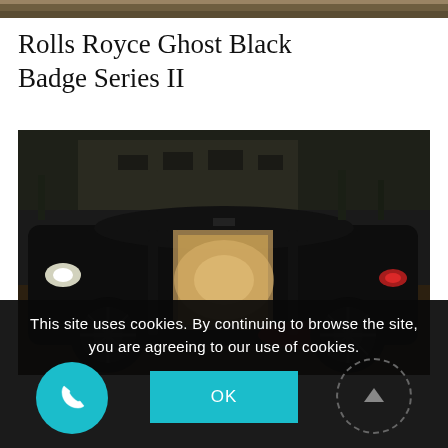[Figure (photo): Top strip of a photo, showing a warm-toned surface]
Rolls Royce Ghost Black Badge Series II
[Figure (photo): A black Rolls Royce Ghost Black Badge Series II photographed at night with doors open, revealing illuminated interior, parked in front of a large building]
This site uses cookies. By continuing to browse the site, you are agreeing to our use of cookies.
OK